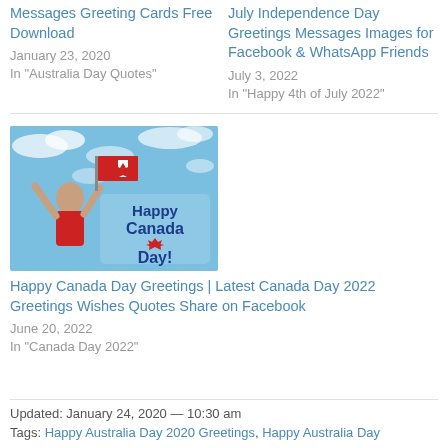Messages Greeting Cards Free Download
January 23, 2020
In "Australia Day Quotes"
July Independence Day Greetings Messages Images for Facebook & WhatsApp Friends
July 3, 2022
In "Happy 4th of July 2022"
[Figure (photo): Child waving a Canadian flag against a blue cloudy sky with 'Happy Canada Day!' text overlay]
Happy Canada Day Greetings | Latest Canada Day 2022 Greetings Wishes Quotes Share on Facebook
June 20, 2022
In "Canada Day 2022"
Updated: January 24, 2020 — 10:30 am
Tags: Happy Australia Day 2020 Greetings, Happy Australia Day